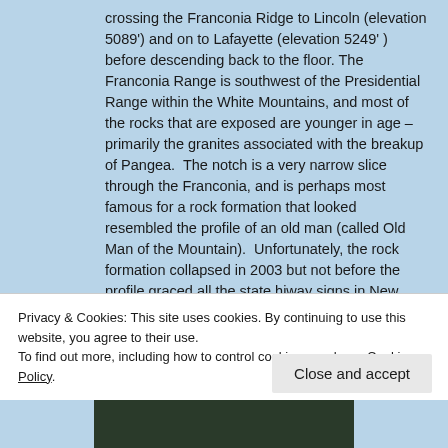crossing the Franconia Ridge to Lincoln (elevation 5089') and on to Lafayette (elevation 5249' ) before descending back to the floor. The Franconia Range is southwest of the Presidential Range within the White Mountains, and most of the rocks that are exposed are younger in age – primarily the granites associated with the breakup of Pangea.  The notch is a very narrow slice through the Franconia, and is perhaps most famous for a rock formation that looked resembled the profile of an old man (called Old Man of the Mountain).  Unfortunately, the rock formation collapsed in 2003 but not before the profile graced all the state hiway signs in New Hampshire and the backside of the US quarter commemorating the state (the perils of being
Privacy & Cookies: This site uses cookies. By continuing to use this website, you agree to their use.
To find out more, including how to control cookies, see here: Cookie Policy